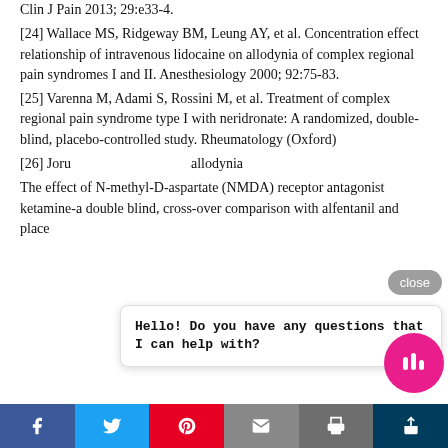Clin J Pain 2013; 29:e33-4.
[24] Wallace MS, Ridgeway BM, Leung AY, et al. Concentration effect relationship of intravenous lidocaine on allodynia of complex regional pain syndromes I and II. Anesthesiology 2000; 92:75-83.
[25] Varenna M, Adami S, Rossini M, et al. Treatment of complex regional pain syndrome type I with neridronate: A randomized, double-blind, placebo-controlled study. Rheumatology (Oxford)
[26] Joru... allodynia...
The effect of N-methyl-D-aspartate (NMDA) receptor antagonist ketamine-a double blind, cross-over comparison with alfentanil and place...